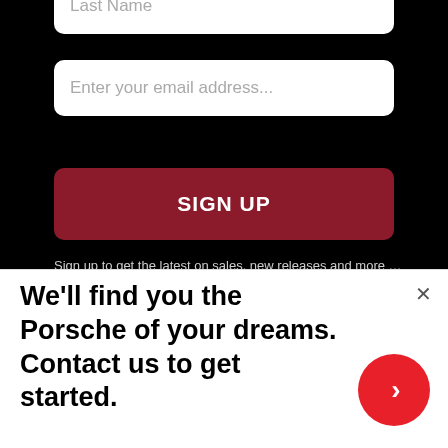Last Name
Enter your email address...
SIGN UP
Sign up to get the latest on sales, new releases and more ...
MAIN MENU
For Him
[Figure (screenshot): Advertisement overlay with text: We'll find you the Porsche of your dreams. Contact us to get started. Red circular arrow button on right.]
We'll find you the Porsche of your dreams. Contact us to get started.